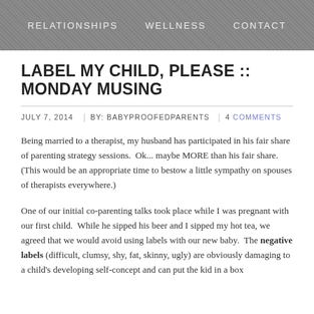RELATIONSHIPS   WELLNESS   CONTACT
LABEL MY CHILD, PLEASE :: MONDAY MUSING
JULY 7, 2014 | BY: BABYPROOFEDPARENTS | 4 COMMENTS
Being married to a therapist, my husband has participated in his fair share of parenting strategy sessions.  Ok... maybe MORE than his fair share. (This would be an appropriate time to bestow a little sympathy on spouses of therapists everywhere.)
One of our initial co-parenting talks took place while I was pregnant with our first child.  While he sipped his beer and I sipped my hot tea, we agreed that we would avoid using labels with our new baby.  The negative labels (difficult, clumsy, shy, fat, skinny, ugly) are obviously damaging to a child's developing self-concept and can put the kid in a box